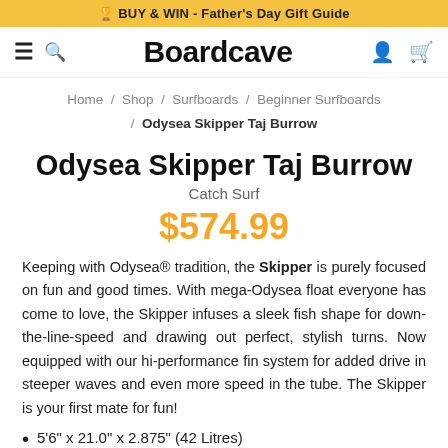🏆 BUY & WIN - Father's Day Gift Guide
[Figure (screenshot): Boardcave navigation bar with hamburger menu, search icon, Boardcave logo, user icon, and cart icon]
Home / Shop / Surfboards / Beginner Surfboards / Odysea Skipper Taj Burrow
Odysea Skipper Taj Burrow
Catch Surf
$574.99
Keeping with Odysea® tradition, the Skipper is purely focused on fun and good times. With mega-Odysea float everyone has come to love, the Skipper infuses a sleek fish shape for down-the-line-speed and drawing out perfect, stylish turns. Now equipped with our hi-performance fin system for added drive in steeper waves and even more speed in the tube. The Skipper is your first mate for fun!
5'6" x 21.0" x 2.875" (42 Litres)